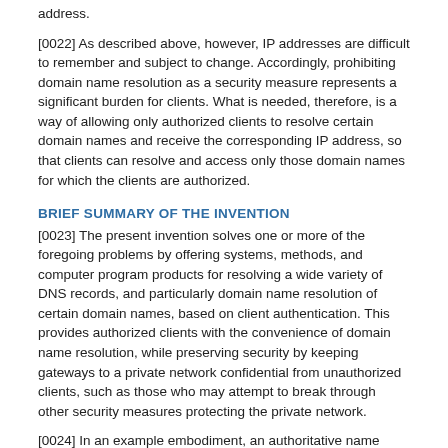address.
[0022] As described above, however, IP addresses are difficult to remember and subject to change. Accordingly, prohibiting domain name resolution as a security measure represents a significant burden for clients. What is needed, therefore, is a way of allowing only authorized clients to resolve certain domain names and receive the corresponding IP address, so that clients can resolve and access only those domain names for which the clients are authorized.
BRIEF SUMMARY OF THE INVENTION
[0023] The present invention solves one or more of the foregoing problems by offering systems, methods, and computer program products for resolving a wide variety of DNS records, and particularly domain name resolution of certain domain names, based on client authentication. This provides authorized clients with the convenience of domain name resolution, while preserving security by keeping gateways to a private network confidential from unauthorized clients, such as those who may attempt to break through other security measures protecting the private network.
[0024] In an example embodiment, an authoritative name server receives a request for domain name resolution from a client computer. The request for domain name resolution may include client authentication, or, alternatively, the authoritative name server may receive the client authentication at a later